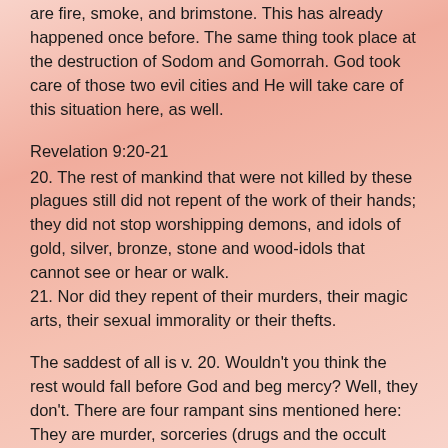are fire, smoke, and brimstone. This has already happened once before. The same thing took place at the destruction of Sodom and Gomorrah. God took care of those two evil cities and He will take care of this situation here, as well.
Revelation 9:20-21
20. The rest of mankind that were not killed by these plagues still did not repent of the work of their hands; they did not stop worshipping demons, and idols of gold, silver, bronze, stone and wood-idols that cannot see or hear or walk.
21. Nor did they repent of their murders, their magic arts, their sexual immorality or their thefts.
The saddest of all is v. 20. Wouldn't you think the rest would fall before God and beg mercy? Well, they don't. There are four rampant sins mentioned here: They are murder, sorceries (drugs and the occult practices), sexual immorality, and